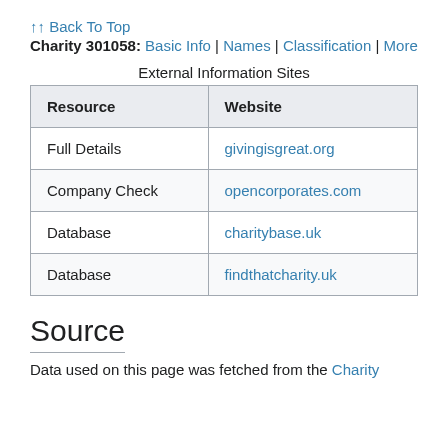↑↑ Back To Top
Charity 301058: Basic Info | Names | Classification | More
External Information Sites
| Resource | Website |
| --- | --- |
| Full Details | givingisgreat.org |
| Company Check | opencorporates.com |
| Database | charitybase.uk |
| Database | findthatcharity.uk |
Source
Data used on this page was fetched from the Charity